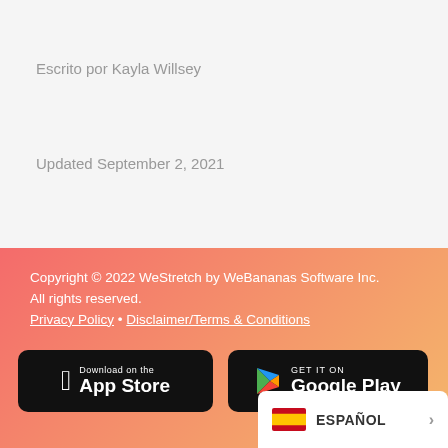Escrito por Kayla Willsey
Updated September 2, 2021
Copyright © 2022 WeStretch by WeBananas Software Inc. All rights reserved. Privacy Policy • Disclaimer/Terms & Conditions
[Figure (logo): Download on the App Store button (black rounded rectangle with Apple logo)]
[Figure (logo): GET IT ON Google Play button (black rounded rectangle with Google Play triangle logo)]
[Figure (other): Language selector button showing Spanish flag and text ESPAÑOL with chevron arrow]